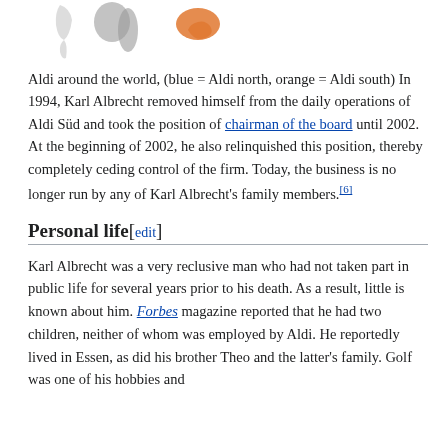[Figure (map): Partial world map showing Aldi locations, with blue regions for Aldi north and orange region (Australia) for Aldi south]
Aldi around the world, (blue = Aldi north, orange = Aldi south) In 1994, Karl Albrecht removed himself from the daily operations of Aldi Süd and took the position of chairman of the board until 2002. At the beginning of 2002, he also relinquished this position, thereby completely ceding control of the firm. Today, the business is no longer run by any of Karl Albrecht's family members.[6]
Personal life[edit]
Karl Albrecht was a very reclusive man who had not taken part in public life for several years prior to his death. As a result, little is known about him. Forbes magazine reported that he had two children, neither of whom was employed by Aldi. He reportedly lived in Essen, as did his brother Theo and the latter's family. Golf was one of his hobbies and